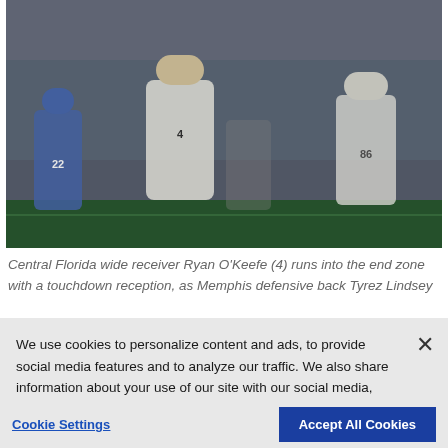[Figure (photo): Football game photo showing Central Florida wide receiver Ryan O'Keefe (4) running into the end zone with a touchdown reception, with Memphis defensive back Tyrez Lindsey in pursuit. Players in white UCF uniforms and blue Memphis uniforms visible on a football field.]
Central Florida wide receiver Ryan O'Keefe (4) runs into the end zone with a touchdown reception, as Memphis defensive back Tyrez Lindsey
We use cookies to personalize content and ads, to provide social media features and to analyze our traffic. We also share information about your use of our site with our social media, advertising and analytics partners.  Privacy Policy
Cookie Settings   Accept All Cookies